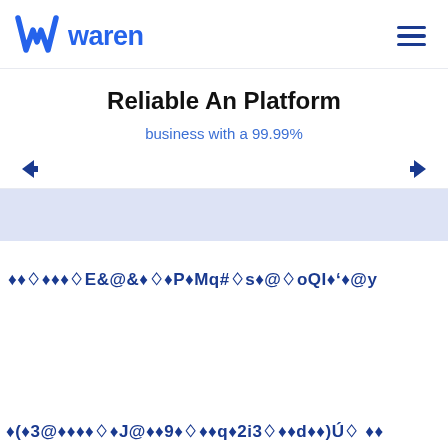waren
Reliable An Platform
business with a 99.99%
[Figure (screenshot): Garbled/corrupted text row 1: diamond question mark characters mixed with E&@&�P►Mq#s►@oQI►'►@y]
[Figure (screenshot): Garbled/corrupted text row 2: (►3@►►►J@►►9►►►q►2i3►d►►)Ú► ►]